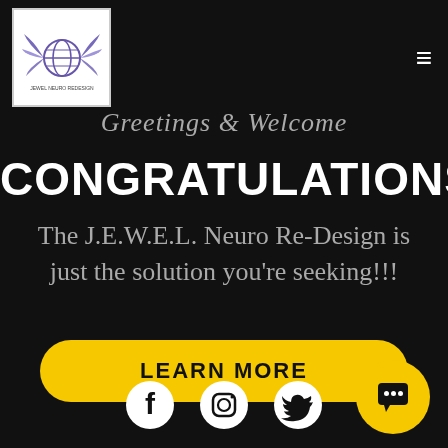[Figure (logo): Logo with wings and globe icon in white box]
≡
Greetings & Welcome
CONGRATULATIONS!
The J.E.W.E.L. Neuro Re-Design is just the solution you're seeking!!!
LEARN MORE
[Figure (illustration): Social media icons: Facebook, Instagram, Twitter]
[Figure (illustration): Yellow chat bubble button]